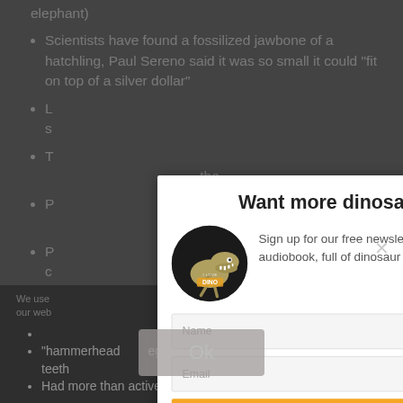Scientists have found a fossilized jawbone of a hatchling, Paul Sereno said it was so small it could "fit on top of a silver dollar"
(partial, cut off)
(partial, cut off) the
(partial, cut off) the
(partial) oic
We use... nce on our web... hat you
"hammerhead ... egs" and a "Mesozoic law... cause of its teeth
Had more than active 500 teeth in its mouth
Want more dinosaurs?
Sign up for our free newsletter and get a mini audiobook, full of dinosaur stories!
[Figure (illustration): Circular logo with a dinosaur (T-Rex) illustration and text 'DINO' on dark background]
Name
Email
Subscribe
Ok